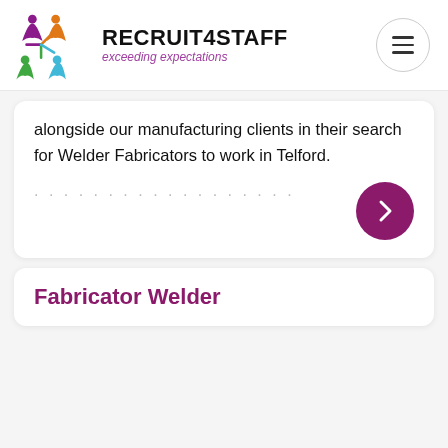[Figure (logo): Recruit4Staff logo with colorful star/people figures and brand name 'RECRUIT4STAFF exceeding expectations']
alongside our manufacturing clients in their search for Welder Fabricators to work in Telford.
......................
Fabricator Welder